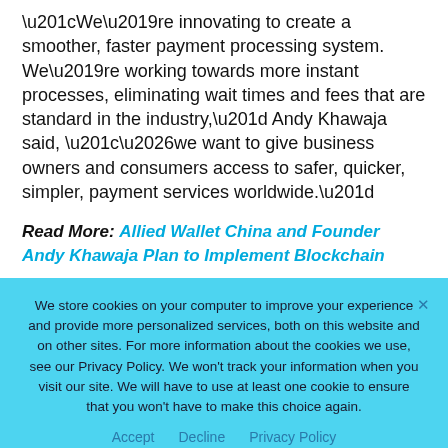“We’re innovating to create a smoother, faster payment processing system. We’re working towards more instant processes, eliminating wait times and fees that are standard in the industry,” Andy Khawaja said, “…we want to give business owners and consumers access to safer, quicker, simpler, payment services worldwide.”
Read More: Allied Wallet China and Founder Andy Khawaja Plan to Implement Blockchain
We store cookies on your computer to improve your experience and provide more personalized services, both on this website and on other sites. For more information about the cookies we use, see our Privacy Policy. We won’t track your information when you visit our site. We will have to use at least one cookie to ensure that you won’t have to make this choice again.
Accept   Decline   Privacy Policy